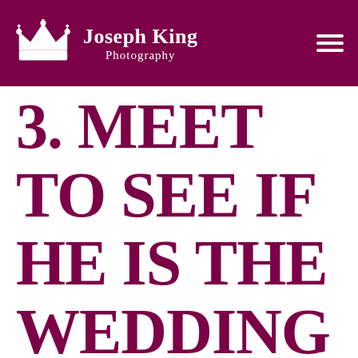Joseph King Photography
3. MEET TO SEE IF HE IS THE WEDDING PHOTOGRAPHER IN INDORE YOU MUST HIRE